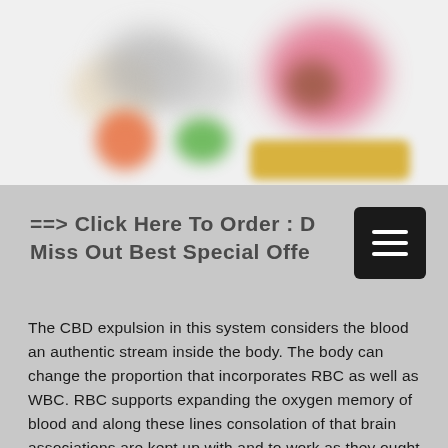[Figure (photo): Blurred/obscured product photo showing colorful gummy candies or supplement products with orange, green, pink blobs and a yellow banner element on a light beige/gray background.]
==> Click Here To Order : Don't Miss Out Best Special Offer
The CBD expulsion in this system considers the blood an authentic stream inside the body. The body can change the proportion that incorporates RBC as well as WBC. RBC supports expanding the oxygen memory of blood and along these lines consolation of that brain associations are kept up with and to work as they ought to. WBC helps with improving the security of the framework,